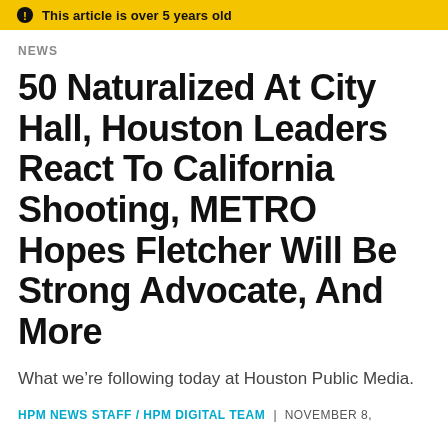This article is over 5 years old
NEWS
50 Naturalized At City Hall, Houston Leaders React To California Shooting, METRO Hopes Fletcher Will Be Strong Advocate, And More
What we’re following today at Houston Public Media.
HPM NEWS STAFF / HPM DIGITAL TEAM | NOVEMBER 8,